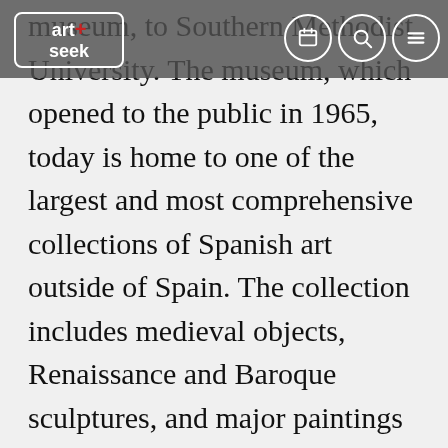museum, to Southern Methodist University. The museum, which opened to the public in 1965, today is home to one of the largest and most comprehensive collections of Spanish art outside of Spain. The collection includes medieval objects, Renaissance and Baroque sculptures, and major paintings by Golden Age and modern masters. Through the years, The Meadows Foundation has continued to provide generous support for the Meadows Museum and Meadows School of the Arts at SMU.